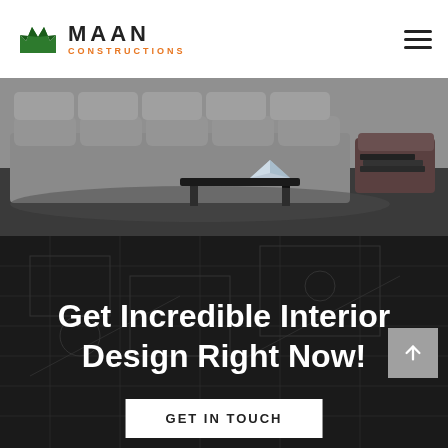[Figure (logo): Maan Constructions logo with green crown/house icon and orange CONSTRUCTIONS text]
[Figure (photo): Interior design photo showing modern grey modular sofa with dark coffee table and decorative crystal object]
Get Incredible Interior Design Right Now!
At every stage, we could supervise your project – controlling all the details and consulting the bu...
GET IN TOUCH